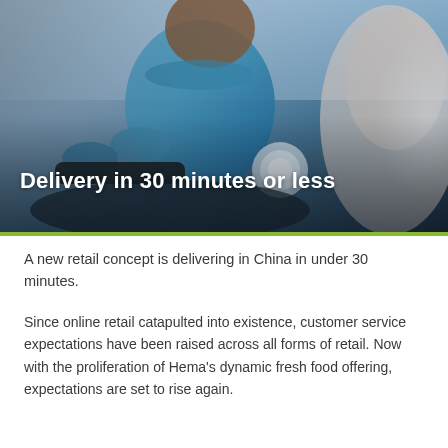[Figure (photo): A delivery person in a light blue polo shirt riding a scooter/motorcycle, photographed from the side. The image has a shallow depth of field with a blurred foreground figure on the right. Overlaid white bold text reads 'Delivery in 30 minutes or less'.]
A new retail concept is delivering in China in under 30 minutes.
Since online retail catapulted into existence, customer service expectations have been raised across all forms of retail. Now with the proliferation of Hema's dynamic fresh food offering, expectations are set to rise again.